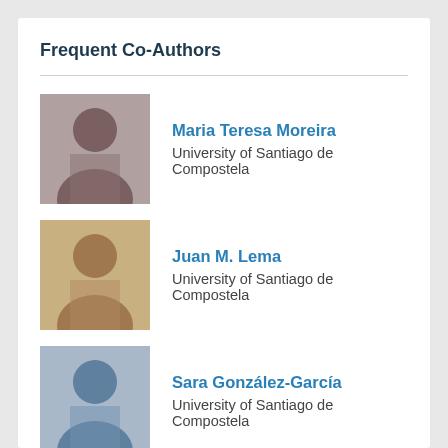Frequent Co-Authors
Maria Teresa Moreira
University of Santiago de Compostela
Juan M. Lema
University of Santiago de Compostela
Sara González-García
University of Santiago de Compostela
Ian Vázquez-Rowe
Pontifical Catholic University of Peru
Almudena Hospido